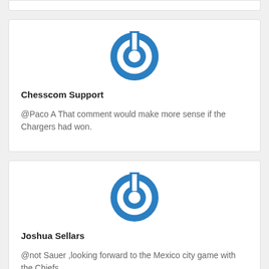[Figure (logo): Blue circular power button icon for Chesscom Support]
Chesscom Support
@Paco A That comment would make more sense if the Chargers had won.
[Figure (logo): Blue circular power button icon for Joshua Sellars]
Joshua Sellars
@not Sauer ,looking forward to the Mexico city game with the Chiefs.